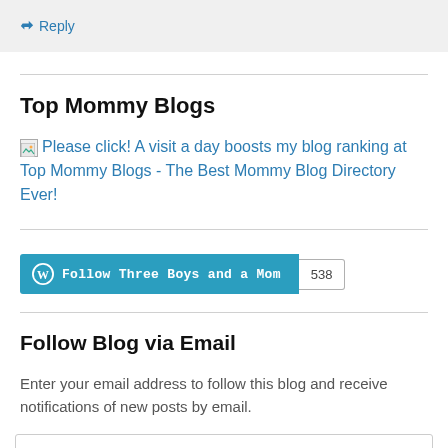↳ Reply
Top Mommy Blogs
Please click! A visit a day boosts my blog ranking at Top Mommy Blogs - The Best Mommy Blog Directory Ever!
[Figure (other): Follow Three Boys and a Mom WordPress follow button with count 538]
Follow Blog via Email
Enter your email address to follow this blog and receive notifications of new posts by email.
Email Address